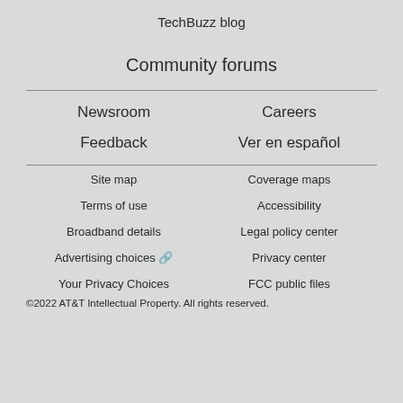TechBuzz blog
Community forums
Newsroom
Careers
Feedback
Ver en español
Site map
Coverage maps
Terms of use
Accessibility
Broadband details
Legal policy center
Advertising choices 🔗
Privacy center
Your Privacy Choices
FCC public files
©2022 AT&T Intellectual Property. All rights reserved.